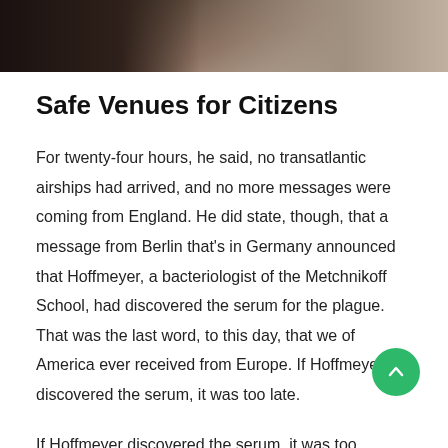[Figure (photo): Partial photo strip at top of page showing a person against a rocky/concrete background, cropped to show only the top portion]
Safe Venues for Citizens
For twenty-four hours, he said, no transatlantic airships had arrived, and no more messages were coming from England. He did state, though, that a message from Berlin that's in Germany announced that Hoffmeyer, a bacteriologist of the Metchnikoff School, had discovered the serum for the plague. That was the last word, to this day, that we of America ever received from Europe. If Hoffmeyer discovered the serum, it was too late.
If Hoffmeyer discovered the serum, it was too late, otherwise, long ere this, explorers from Europe would